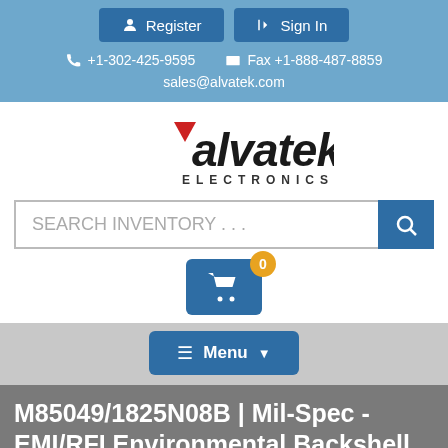Register | Sign In | +1-302-425-9595 | Fax +1-888-487-8859 | sales@alvatek.com
[Figure (logo): Alvatek Electronics logo with red triangle and stylized text]
SEARCH INVENTORY . . .
[Figure (infographic): Shopping cart button with badge showing 0 items]
≡ Menu
M85049/1825N08B | Mil-Spec - EMI/RFI Environmental Backshell